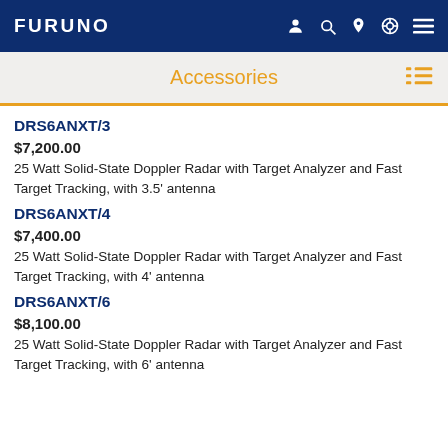FURUNO
Accessories
DRS6ANXT/3
$7,200.00
25 Watt Solid-State Doppler Radar with Target Analyzer and Fast Target Tracking, with 3.5' antenna
DRS6ANXT/4
$7,400.00
25 Watt Solid-State Doppler Radar with Target Analyzer and Fast Target Tracking, with 4' antenna
DRS6ANXT/6
$8,100.00
25 Watt Solid-State Doppler Radar with Target Analyzer and Fast Target Tracking, with 6' antenna